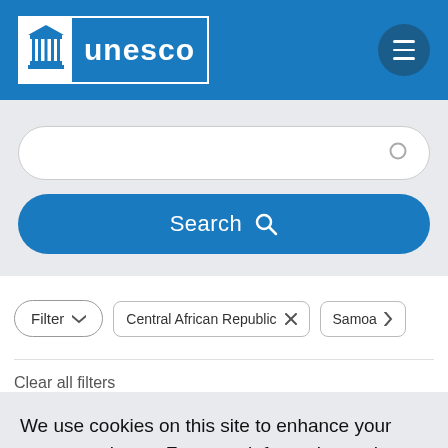UNESCO
[Figure (screenshot): Search input field with rounded border and search icon on the right]
[Figure (screenshot): Blue rounded Search button with magnifying glass icon]
[Figure (screenshot): Filter pill button with dropdown arrow, Central African Republic tag with X, Samoa tag with arrow]
Clear all filters
We use cookies on this site to enhance your user experience. For more information on how we use cookies, read our privacy notice.